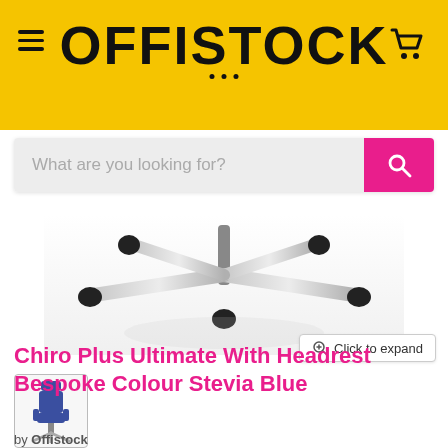OFFISTOCK
What are you looking for?
[Figure (photo): Close-up of a chair base with chrome star base and black casters on white background]
[Figure (photo): Thumbnail of Chiro Plus Ultimate office chair with headrest in blue (Stevia Blue) upholstery]
Chiro Plus Ultimate With Headrest Bespoke Colour Stevia Blue
by Offistock